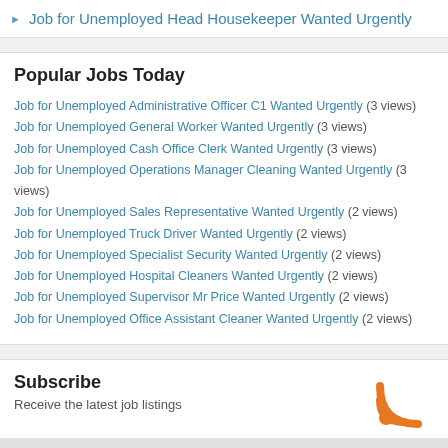Job for Unemployed Head Housekeeper Wanted Urgently
Popular Jobs Today
Job for Unemployed Administrative Officer C1 Wanted Urgently (3 views)
Job for Unemployed General Worker Wanted Urgently (3 views)
Job for Unemployed Cash Office Clerk Wanted Urgently (3 views)
Job for Unemployed Operations Manager Cleaning Wanted Urgently (3 views)
Job for Unemployed Sales Representative Wanted Urgently (2 views)
Job for Unemployed Truck Driver Wanted Urgently (2 views)
Job for Unemployed Specialist Security Wanted Urgently (2 views)
Job for Unemployed Hospital Cleaners Wanted Urgently (2 views)
Job for Unemployed Supervisor Mr Price Wanted Urgently (2 views)
Job for Unemployed Office Assistant Cleaner Wanted Urgently (2 views)
Subscribe
Receive the latest job listings
Follow Us
Come join us on Twitter